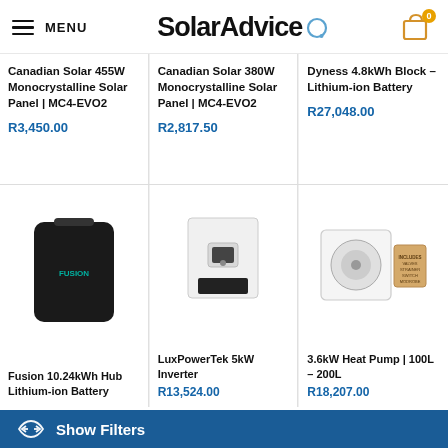MENU | SolarAdvice | Cart (0)
Canadian Solar 455W Monocrystalline Solar Panel | MC4-EVO2
R3,450.00
Canadian Solar 380W Monocrystalline Solar Panel | MC4-EVO2
R2,817.50
Dyness 4.8kWh Block – Lithium-ion Battery
R27,048.00
[Figure (photo): Fusion 10.24kWh Hub Lithium-ion Battery – black rectangular battery unit]
Fusion 10.24kWh Hub Lithium-ion Battery
[Figure (photo): LuxPowerTek 5kW Inverter – white wall-mounted unit]
LuxPowerTek 5kW Inverter
R13,524.00
[Figure (photo): 3.6kW Heat Pump 100L–200L – white outdoor unit with fan]
3.6kW Heat Pump | 100L – 200L
R18,207.00
Show Filters